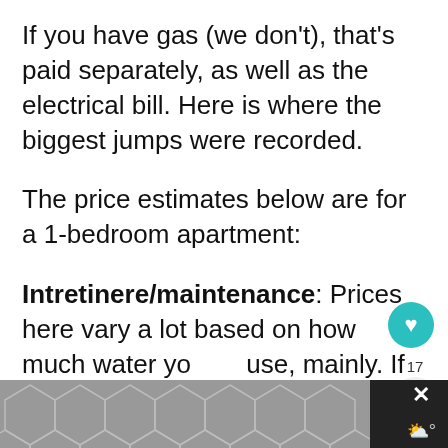If you have gas (we don't), that's paid separately, as well as the electrical bill. Here is where the biggest jumps were recorded.
The price estimates below are for a 1-bedroom apartment:
Intretinere/maintenance: Prices here vary a lot based on how much water you use, mainly. If heating is included, expect to pay a lot more during the winter months (the warmer you want your room to b... y...